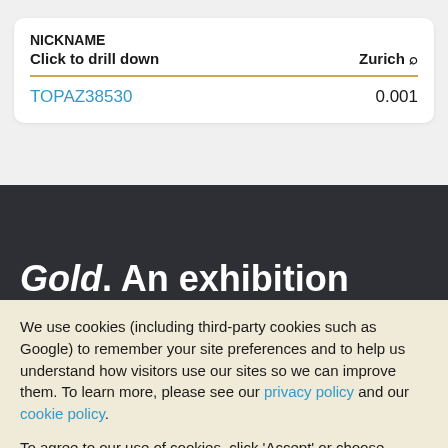| NICKNAME |  |
| --- | --- |
| Click to drill down | Zurich 🔍 |
| TOPAZ38530 | 0.001 |
Gold. An exhibition
We use cookies (including third-party cookies such as Google) to remember your site preferences and to help us understand how visitors use our sites so we can improve them. To learn more, please see our privacy policy and our cookie policy.
To agree to our use of cookies, click 'Accept' or choose 'Options' to set your preferences by cookie type.